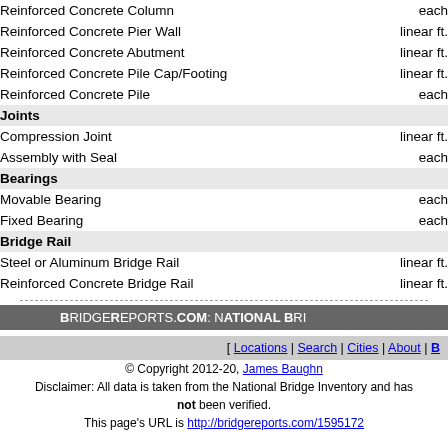| Item | Unit |
| --- | --- |
| Reinforced Concrete Column | each |
| Reinforced Concrete Pier Wall | linear ft. |
| Reinforced Concrete Abutment | linear ft. |
| Reinforced Concrete Pile Cap/Footing | linear ft. |
| Reinforced Concrete Pile | each |
| Joints |  |
| Compression Joint | linear ft. |
| Assembly with Seal | each |
| Bearings |  |
| Movable Bearing | each |
| Fixed Bearing | each |
| Bridge Rail |  |
| Steel or Aluminum Bridge Rail | linear ft. |
| Reinforced Concrete Bridge Rail | linear ft. |
BridgeReports.com: National Bri...
[ Locations | Search | Cities | About | B...
© Copyright 2012-20, James Baughn
Disclaimer: All data is taken from the National Bridge Inventory and has not been verified.
This page's URL is http://bridgereports.com/1595172